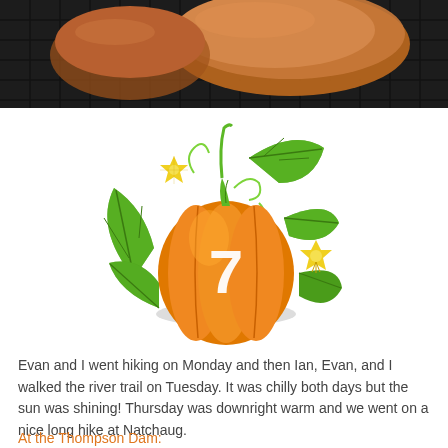[Figure (photo): Photo of baked bread rolls on a dark wire cooling rack, cropped at top of page]
[Figure (illustration): Decorative illustration of an orange pumpkin with green vine, leaves, and yellow star-shaped flowers, with the number 7 in white on the pumpkin]
Evan and I went hiking on Monday and then Ian, Evan, and I walked the river trail on Tuesday.  It was chilly both days but the sun was shining! Thursday was downright warm and we went on a nice long hike at Natchaug.
At the Thompson Dam: